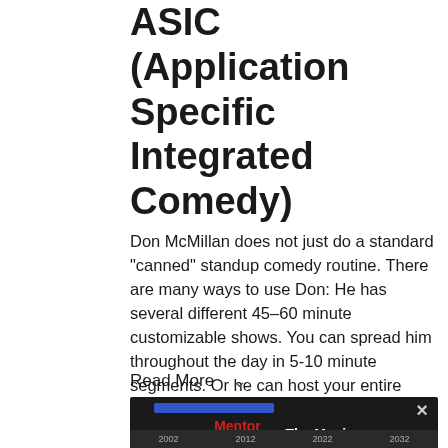ASIC (Application Specific Integrated Comedy)
Don McMillan does not just do a standard “canned” standup comedy routine. There are many ways to use Don: He has several different 45–60 minute customizable shows. You can spread him throughout the day in 5-10 minute segments. Or he can host your entire event.
Read More
[Figure (screenshot): Video player showing 'Mentor Graphics: The Movie' with a player error overlay. The overlay reads 'Player error' and 'The player is having trouble. We’ll have it back up and running as soon as possible.' A close button (X) is visible in the top right. A blue progress bar and year labels (2002, 2012, 2022, 2032) are shown at the bottom.]